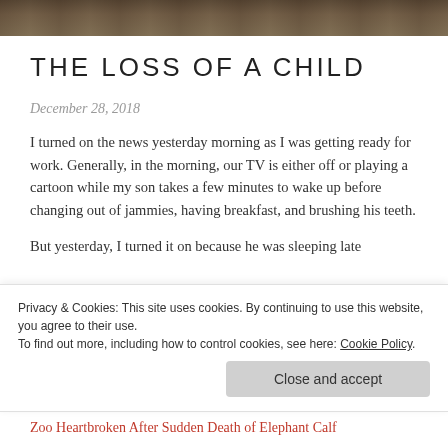[Figure (photo): Top strip photo of elephants, partially cropped, dark brown tones]
THE LOSS OF A CHILD
December 28, 2018
I turned on the news yesterday morning as I was getting ready for work. Generally, in the morning, our TV is either off or playing a cartoon while my son takes a few minutes to wake up before changing out of jammies, having breakfast, and brushing his teeth.
But yesterday, I turned it on because he was sleeping late
Privacy & Cookies: This site uses cookies. By continuing to use this website, you agree to their use.
To find out more, including how to control cookies, see here: Cookie Policy
Close and accept
Zoo Heartbroken After Sudden Death of Elephant Calf